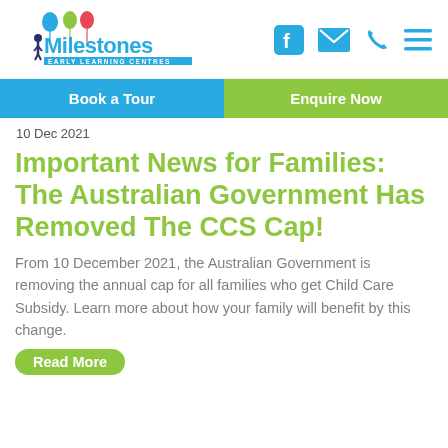[Figure (logo): Milestones Early Learning Centres logo with colourful balloons and child figure]
[Figure (infographic): Social media and contact icons: Facebook, email/envelope, phone, menu/hamburger]
Book a Tour | Enquire Now
10 Dec 2021
Important News for Families: The Australian Government Has Removed The CCS Cap!
From 10 December 2021, the Australian Government is removing the annual cap for all families who get Child Care Subsidy. Learn more about how your family will benefit by this change.
Read More